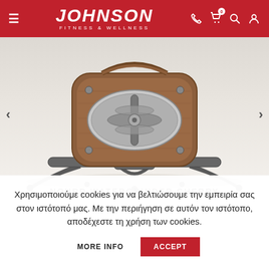JOHNSON FITNESS & WELLNESS
[Figure (photo): Close-up of the NOHrD WaterGrinder Cherry fitness equipment – wooden frame with metal water resistance mechanism and steel base legs, photographed against a white/grey gradient background. Navigation arrows (< >) on left and right sides.]
NOHRD WATERGRINDER CHERRY
Χρησιμοποιούμε cookies για να βελτιώσουμε την εμπειρία σας στον ιστότοπό μας. Με την περιήγηση σε αυτόν τον ιστότοπο, αποδέχεστε τη χρήση των cookies.
MORE INFO
ACCEPT